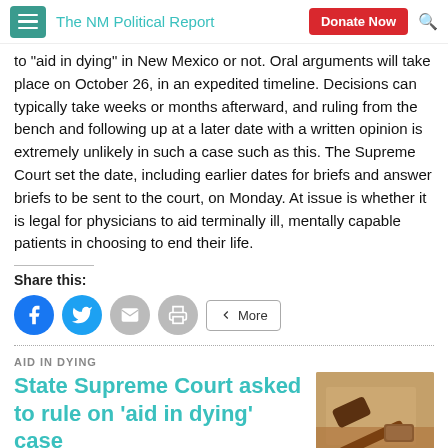The NM Political Report
to "aid in dying" in New Mexico or not. Oral arguments will take place on October 26, in an expedited timeline. Decisions can typically take weeks or months afterward, and ruling from the bench and following up at a later date with a written opinion is extremely unlikely in such a case such as this. The Supreme Court set the date, including earlier dates for briefs and answer briefs to be sent to the court, on Monday. At issue is whether it is legal for physicians to aid terminally ill, mentally capable patients in choosing to end their life.
Share this:
AID IN DYING
State Supreme Court asked to rule on 'aid in dying' case
[Figure (photo): Photo of a judge's gavel on a desk]